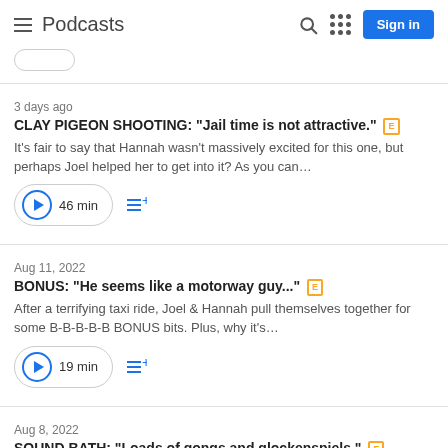Podcasts — Sign in
3 days ago
CLAY PIGEON SHOOTING: "Jail time is not attractive." [E]
It's fair to say that Hannah wasn't massively excited for this one, but perhaps Joel helped her to get into it? As you can...
46 min
Aug 11, 2022
BONUS: "He seems like a motorway guy..." [E]
After a terrifying taxi ride, Joel & Hannah pull themselves together for some B-B-B-B-B BONUS bits. Plus, why it's...
19 min
Aug 8, 2022
SOUND BATH: "Loads of gongs and glockenspiels." [E]